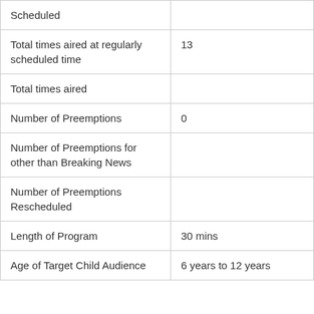| Scheduled |  |
| Total times aired at regularly scheduled time | 13 |
| Total times aired |  |
| Number of Preemptions | 0 |
| Number of Preemptions for other than Breaking News |  |
| Number of Preemptions Rescheduled |  |
| Length of Program | 30 mins |
| Age of Target Child Audience | 6 years to 12 years |